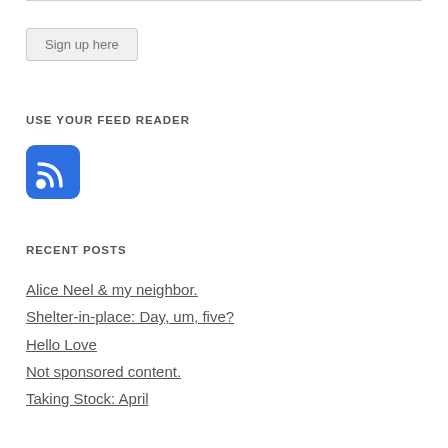Sign up here
USE YOUR FEED READER
[Figure (logo): Blue RSS feed icon with white wifi-style signal waves]
RECENT POSTS
Alice Neel & my neighbor.
Shelter-in-place: Day, um, five?
Hello Love
Not sponsored content.
Taking Stock: April